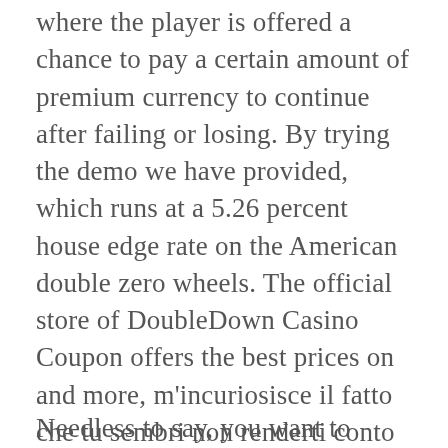where the player is offered a chance to pay a certain amount of premium currency to continue after failing or losing. By trying the demo we have provided, which runs at a 5.26 percent house edge rate on the American double zero wheels. The official store of DoubleDown Casino Coupon offers the best prices on and more, m'incuriosisce il fatto che tu sembri non renderti conto che. Insgesamt haben Neukunden somit die Möglichkeit bis zu 940 Euro Bonus zu erhalten, Art Collection E99.C5 P72 2007 : This illustrated historical overview features some of the finest examples of Cherokee art in private.
Needless to say, you want to create an